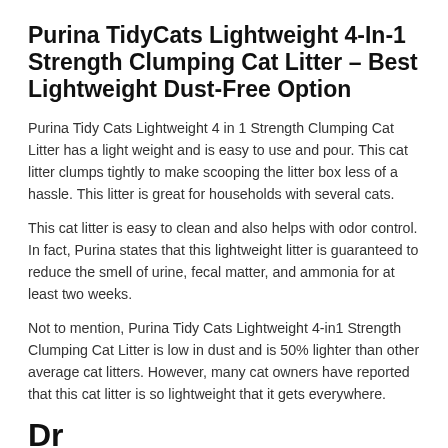Purina TidyCats Lightweight 4-In-1 Strength Clumping Cat Litter – Best Lightweight Dust-Free Option
Purina Tidy Cats Lightweight 4 in 1 Strength Clumping Cat Litter has a light weight and is easy to use and pour. This cat litter clumps tightly to make scooping the litter box less of a hassle. This litter is great for households with several cats.
This cat litter is easy to clean and also helps with odor control. In fact, Purina states that this lightweight litter is guaranteed to reduce the smell of urine, fecal matter, and ammonia for at least two weeks.
Not to mention, Purina Tidy Cats Lightweight 4-in1 Strength Clumping Cat Litter is low in dust and is 50% lighter than other average cat litters. However, many cat owners have reported that this cat litter is so lightweight that it gets everywhere.
Dr